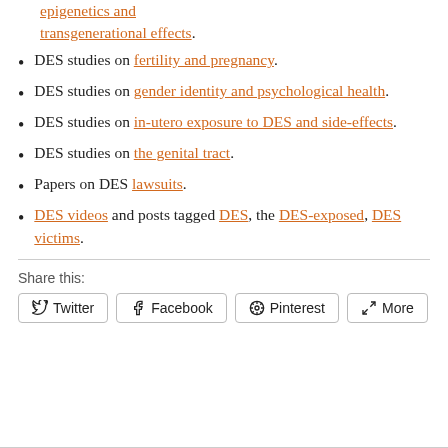DES studies on epigenetics and transgenerational effects.
DES studies on fertility and pregnancy.
DES studies on gender identity and psychological health.
DES studies on in-utero exposure to DES and side-effects.
DES studies on the genital tract.
Papers on DES lawsuits.
DES videos and posts tagged DES, the DES-exposed, DES victims.
Share this:
Twitter  Facebook  Pinterest  More